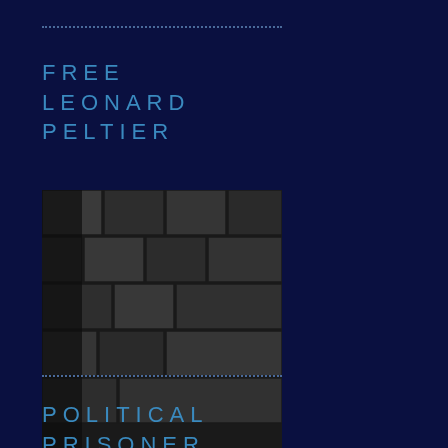dotted line separator
FREE LEONARD PELTIER
[Figure (illustration): Postage stamp illustration showing a Native American man in a white shirt and yellow pants sitting in front of a stone wall. The stamp has 'FREE LEONAR' text at the bottom in bold black letters on white background.]
dotted line separator
POLITICAL PRISONER